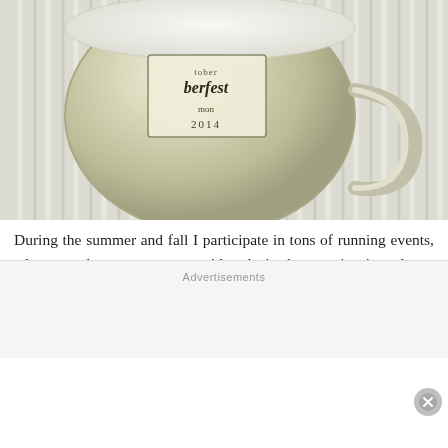[Figure (photo): Close-up photo of a glass beer stein/mug containing a light green smoothie or beverage, with a label reading 'Oktoberfest 2014', resting on a white striped surface]
During the summer and fall I participate in tons of running events, where you have to get up stupid early in the morning in order to make it to the start line or bus pickup on time. My usual race day breakfast (or really any day
Advertisements